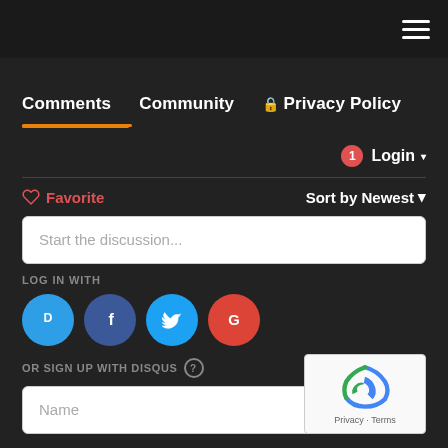Navigation bar with hamburger menu
Comments  Community  🔒 Privacy Policy
1  Login ▾
♡ Favorite   Sort by Newest ▾
Start the discussion...
LOG IN WITH
[Figure (infographic): Social login icons: Disqus (blue speech bubble with D), Facebook (dark blue circle with f), Twitter (light blue circle with bird), Google (red circle with G)]
OR SIGN UP WITH DISQUS ?
Name